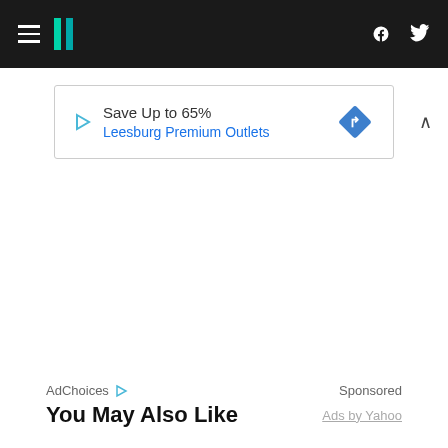HuffPost navigation bar with hamburger menu, logo, Facebook and Twitter icons
[Figure (infographic): Advertisement banner: Save Up to 65% - Leesburg Premium Outlets, with play icon and blue diamond turn icon]
AdChoices ▷   Sponsored
You May Also Like
Ads by Yahoo